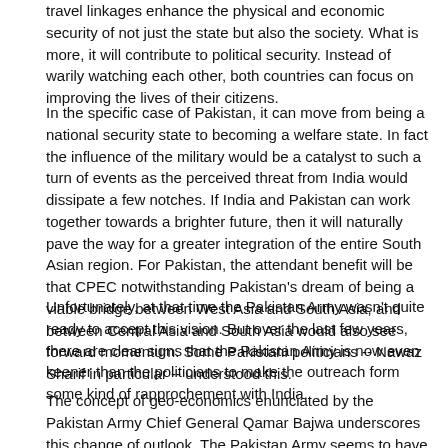travel linkages enhance the physical and economic security of not just the state but also the society. What is more, it will contribute to political security. Instead of warily watching each other, both countries can focus on improving the lives of their citizens.
In the specific case of Pakistan, it can move from being a national security state to becoming a welfare state. In fact the influence of the military would be a catalyst to such a turn of events as the perceived threat from India would dissipate a few notches. If India and Pakistan can work together towards a brighter future, then it will naturally pave the way for a greater integration of the entire South Asian region. For Pakistan, the attendant benefit will be that CPEC notwithstanding Pakistan's dream of being a viable bridge between West Asia and South Asia, and between Central Asia and South Asia would also see forward momentum. Some Pakistani politicians -- Nawaz Sharif in particular -- understood this.
Unfortunately, at that time the Pakistan Army wasn't quite ready to accept this vision. But over the last few years, there are clear signs that the Pakistan Army is now even keener than the politicians to make the outreach form some kind of rapprochement with India.
The concept of geo-economics enunciated by the Pakistan Army Chief General Qamar Bajwa underscores this change of outlook. The Pakistan Army seems to have realised that the unending...